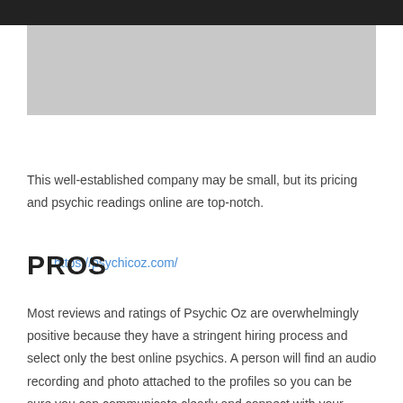[Figure (photo): Gray placeholder image at top of page]
https://psychicoz.com/
This well-established company may be small, but its pricing and psychic readings online are top-notch.
PROS
Most reviews and ratings of Psychic Oz are overwhelmingly positive because they have a stringent hiring process and select only the best online psychics. A person will find an audio recording and photo attached to the profiles so you can be sure you can communicate clearly and connect with your preferred psychic reader.